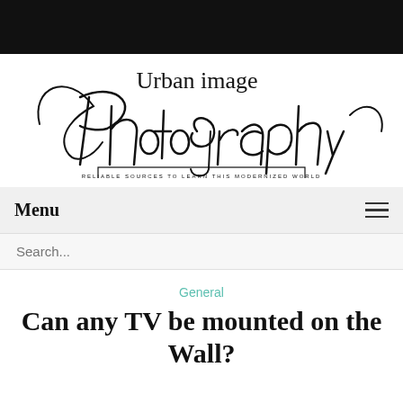[Figure (logo): Urban Image Photography logo with script handwriting style text and tagline 'RELIABLE SOURCES TO LEARN THIS MODERNIZED WORLD' in a bordered box]
Menu
Search...
General
Can any TV be mounted on the Wall?